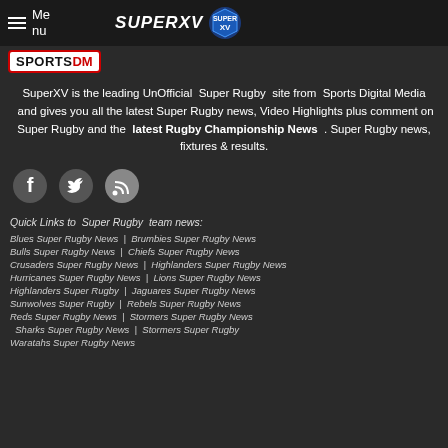Menu | SUPERXV
[Figure (logo): SportsDM logo — white rectangle with SPORTS in dark text and DM in red, with a curved underline]
SuperXV is the leading UnOfficial Super Rugby site from Sports Digital Media and gives you all the latest Super Rugby news, Video Highlights plus comment on Super Rugby and the latest Rugby Championship News . Super Rugby news, fixtures & results.
[Figure (infographic): Three social media icons: Facebook (dark circle with F), Twitter (dark circle with bird), RSS (dark circle with wifi/rss symbol)]
Quick Links to Super Rugby team news:
Blues Super Rugby News | Brumbies Super Rugby News
Bulls Super Rugby News | Chiefs Super Rugby News
Crusaders Super Rugby News | Highlanders Super Rugby News
Hurricanes Super Rugby News | Lions Super Rugby News
Highlanders Super Rugby | Jaguares Super Rugby News
Sunwolves Super Rugby | Rebels Super Rugby News
Reds Super Rugby News | Stormers Super Rugby News
Sharks Super Rugby News | Stormers Super Rugby
Waratahs Super Rugby News